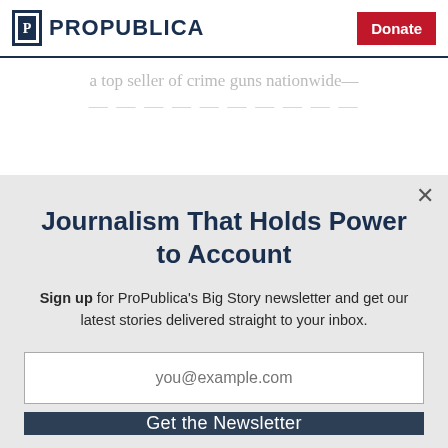ProPublica | Donate
a top seller of crime guns nationwide—
Journalism That Holds Power to Account
Sign up for ProPublica's Big Story newsletter and get our latest stories delivered straight to your inbox.
you@example.com
Get the Newsletter
No thanks, I'm all set
This site is protected by reCAPTCHA and the Google Privacy Policy and Terms of Service apply.